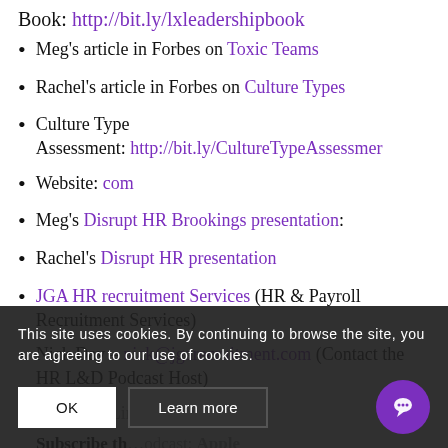Book: http://bit.ly/lxleadershipbook
Meg's article in Forbes on Toxic Teams
Rachel's article in Forbes on Culture Types
Culture Type Assessment: http://bit.ly/CultureTypeAssessment
Website: com
Meg's Disrupt HR Brookings presentation:
Rachel's Disrupt HR presentation
JGA HR recruitment Services (HR & Payroll Recruitment Services)
Nick Day – nick@jgarecruitment.com (Contact the HR L&D Podcast Host)
Nick Day LinkedIn Profile
Subscribe the podcast: Apple Podcasts | Android | Email | Soundcloud
This site uses cookies. By continuing to browse the site, you are agreeing to our use of cookies.